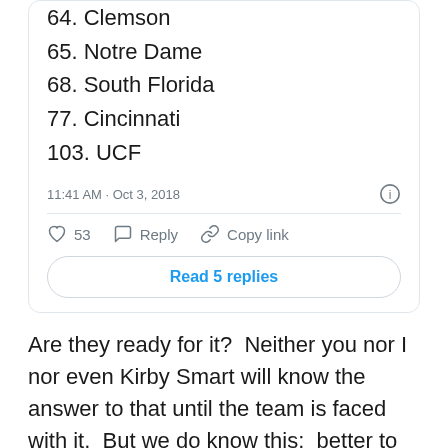64. Clemson
65. Notre Dame
68. South Florida
77. Cincinnati
103. UCF
11:41 AM · Oct 3, 2018
53  Reply  Copy link
Read 5 replies
Are they ready for it?  Neither you nor I nor even Kirby Smart will know the answer to that until the team is faced with it.  But we do know this:  better to be the team with gobs of talent than not.  We also know that Smart and staff will do what they can to have this team ready.  It'll be up to the players themselves to find what they need when the time comes.